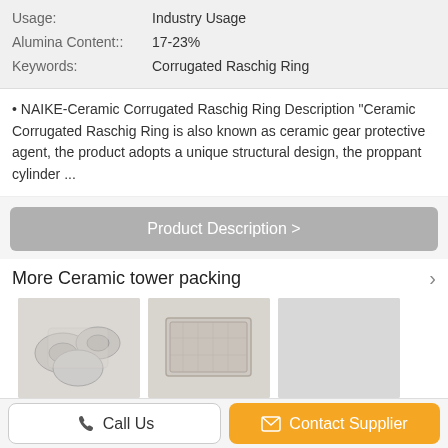| Usage: | Industry Usage |
| Alumina Content:: | 17-23% |
| Keywords: | Corrugated Raschig Ring |
• NAIKE-Ceramic Corrugated Raschig Ring Description "Ceramic Corrugated Raschig Ring is also known as ceramic gear protective agent, the product adopts a unique structural design, the proppant cylinder ...
Product Description >
More Ceramic tower packing
[Figure (photo): Diesel Particulate Filters photo]
Diesel Particulate Filters For...
[Figure (photo): Infrared Ceramic Plate for gas-fir photo]
nfrared Ceramic Plate for gas-fir...
[Figure (photo): For Distillation Column placeholder]
For Distillation Column...
Change Language
Select Language
Call Us
Contact Supplier